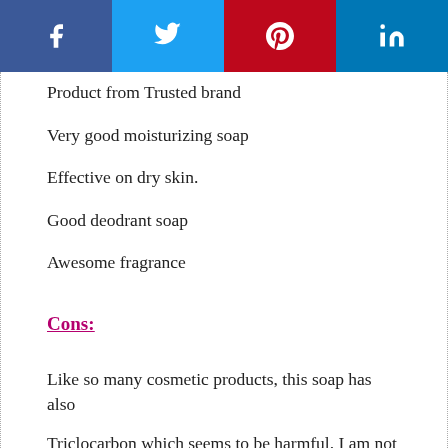[Figure (other): Social media sharing bar with Facebook, Twitter, Pinterest, and LinkedIn buttons]
Product from Trusted brand
Very good moisturizing soap
Effective on dry skin.
Good deodrant soap
Awesome fragrance
Cons:
Like so many cosmetic products, this soap has also
Triclocarbon which seems to be harmful. I am not sure about